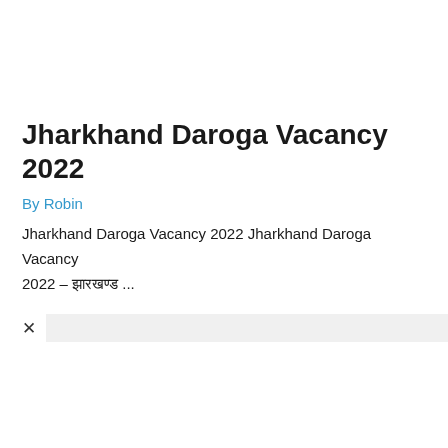Jharkhand Daroga Vacancy 2022
By Robin
Jharkhand Daroga Vacancy 2022 Jharkhand Daroga Vacancy 2022 – झारखण्ड ...